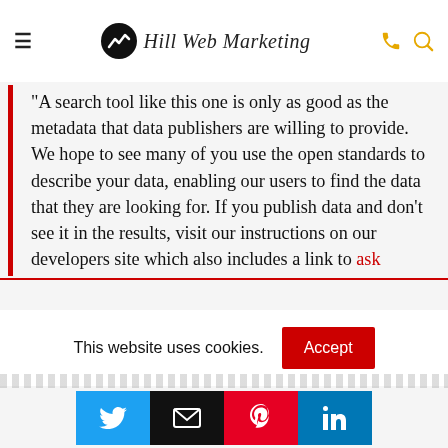Hill Web Marketing
"A search tool like this one is only as good as the metadata that data publishers are willing to provide. We hope to see many of you use the open standards to describe your data, enabling our users to find the data that they are looking for. If you publish data and don't see it in the results, visit our instructions on our developers site which also includes a link to ask questions and provide feedback." – Google *
This website uses cookies.
[Figure (infographic): Social sharing buttons: Twitter (blue), Email (black), Pinterest (red), LinkedIn (blue)]